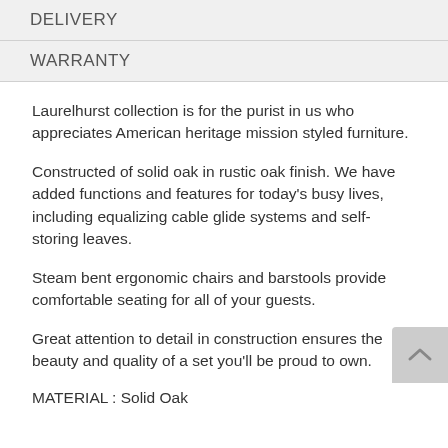DELIVERY
WARRANTY
Laurelhurst collection is for the purist in us who appreciates American heritage mission styled furniture.
Constructed of solid oak in rustic oak finish. We have added functions and features for today's busy lives, including equalizing cable glide systems and self-storing leaves.
Steam bent ergonomic chairs and barstools provide comfortable seating for all of your guests.
Great attention to detail in construction ensures the beauty and quality of a set you'll be proud to own.
MATERIAL : Solid Oak